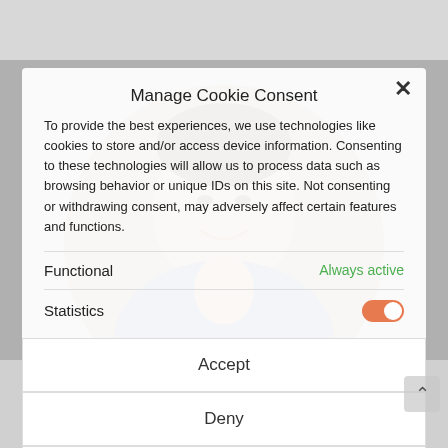[Figure (photo): Background showing a smiling man in a plaid shirt, partially blurred, with a circular crop overlay in the center of the page]
Manage Cookie Consent
To provide the best experiences, we use technologies like cookies to store and/or access device information. Consenting to these technologies will allow us to process data such as browsing behavior or unique IDs on this site. Not consenting or withdrawing consent, may adversely affect certain features and functions.
Functional
Always active
Statistics
Accept
Deny
Save preferences
ARON WALSH
Privacy Policy